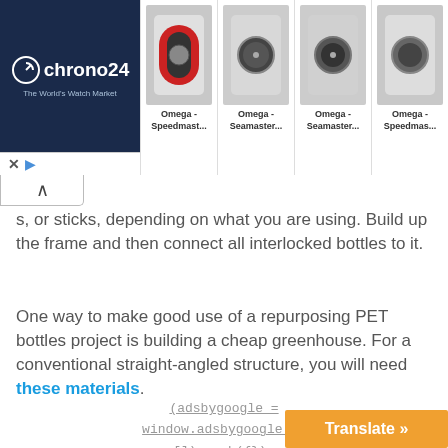[Figure (screenshot): Chrono24 advertisement banner showing logo on dark blue background on the left, and four Omega watch product thumbnails with labels: Omega - Speedmast..., Omega - Seamaster..., Omega - Seamaster..., Omega - Speedmas...]
s, or sticks, depending on what you are using. Build up the frame and then connect all interlocked bottles to it.
One way to make good use of a repurposing PET bottles project is building a cheap greenhouse. For a conventional straight-angled structure, you will need these materials.
(adsbygoogle = window.adsbygoogle || []).push({});
[Figure (screenshot): Orange Translate button in the bottom right corner]